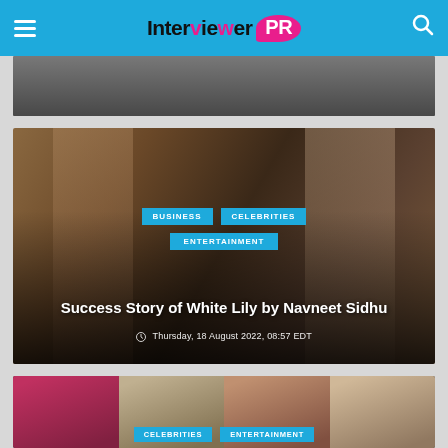InterviewerPR
[Figure (photo): Partial top image strip showing a dark scene, cropped at top]
[Figure (photo): Article thumbnail showing two women in a library/study setting with text overlay: categories BUSINESS, CELEBRITIES, ENTERTAINMENT; title: Success Story of White Lily by Navneet Sidhu; date: Thursday, 18 August 2022, 08:57 EDT]
[Figure (photo): Bottom partial image strip showing four women with CELEBRITIES and ENTERTAINMENT category tags]